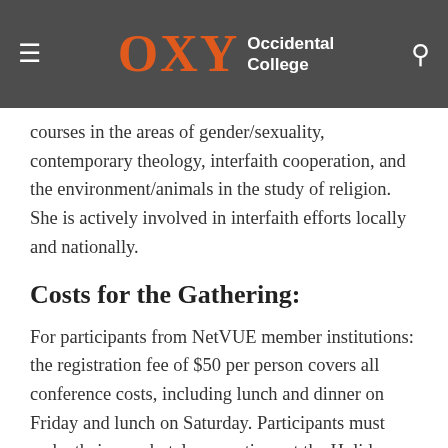OXY Occidental College
courses in the areas of gender/sexuality, contemporary theology, interfaith cooperation, and the environment/animals in the study of religion. She is actively involved in interfaith efforts locally and nationally.
Costs for the Gathering:
For participants from NetVUE member institutions: the registration fee of $50 per person covers all conference costs, including lunch and dinner on Friday and lunch on Saturday. Participants must make their own hotel reservations at the Holiday Inn Express. While NetVUE will pay for lodging for NetVUE members on Friday evening, attendees who desire to stay additional nights will have to pay at